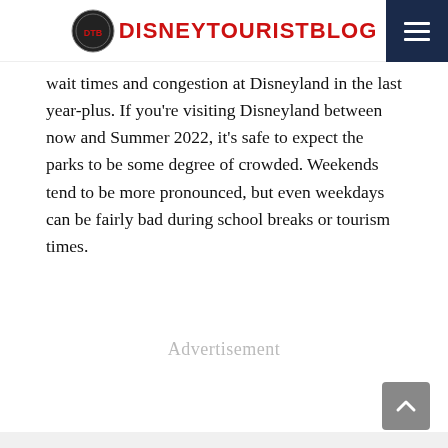DisneyTouristBlog
wait times and congestion at Disneyland in the last year-plus. If you're visiting Disneyland between now and Summer 2022, it's safe to expect the parks to be some degree of crowded. Weekends tend to be more pronounced, but even weekdays can be fairly bad during school breaks or tourism times.
Advertisement